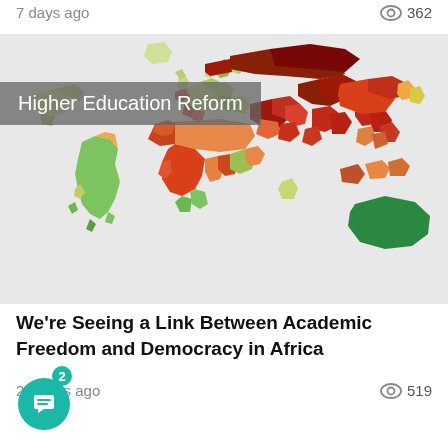7 days ago
362
[Figure (map): World map showing academic freedom index by country, colored from dark red (low freedom) through orange, yellow, light green to dark green (high freedom). Regions visible include the Americas, Europe, Africa, Middle East, Asia, and Australia. A grey overlay label reads 'Higher Education Reform'.]
Higher Education Reform
We're Seeing a Link Between Academic Freedom and Democracy in Africa
2 weeks ago
519
2